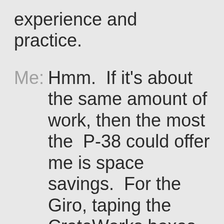experience and practice.
Me:  Hmm.  If it’s about the same amount of work, then the most the  P-38 could offer me is space savings.  For the Giro, taping the CrateWorks boxes closed and shipping them to our destination made their